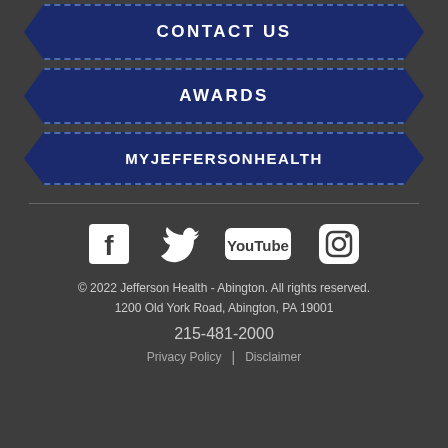CONTACT US
AWARDS
MYJEFFERSONHEALTH
[Figure (illustration): Social media icons: Facebook, Twitter, YouTube, Instagram]
© 2022 Jefferson Health - Abington. All rights reserved.
1200 Old York Road, Abington, PA 19001
215-481-2000
Privacy Policy | Disclaimer